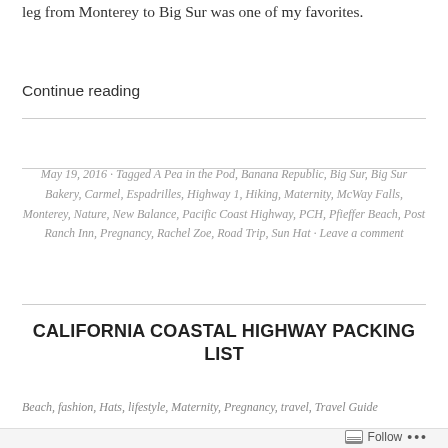leg from Monterey to Big Sur was one of my favorites.
Continue reading
May 19, 2016 · Tagged A Pea in the Pod, Banana Republic, Big Sur, Big Sur Bakery, Carmel, Espadrilles, Highway 1, Hiking, Maternity, McWay Falls, Monterey, Nature, New Balance, Pacific Coast Highway, PCH, Pfieffer Beach, Post Ranch Inn, Pregnancy, Rachel Zoe, Road Trip, Sun Hat · Leave a comment
CALIFORNIA COASTAL HIGHWAY PACKING LIST
Beach, fashion, Hats, lifestyle, Maternity, Pregnancy, travel, Travel Guide
Follow